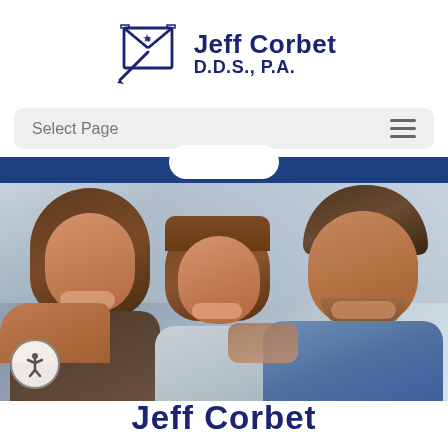[Figure (logo): Jeff Corbet D.D.S., P.A. dental practice logo with stylized envelope/diamond icon and dark navy text]
Select Page
[Figure (photo): A smiling family of three — a woman on the left, a young girl in the center, and a man on the right — posed together closely, all smiling with bright teeth against a light blurred background]
Jeff Corbet